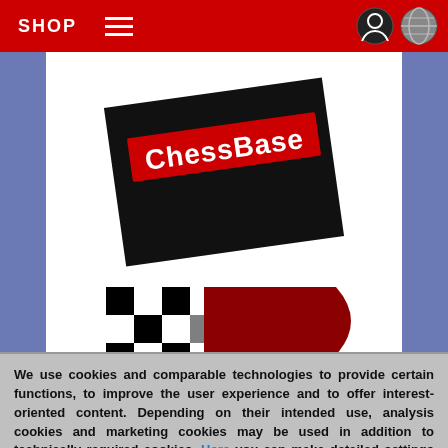SHOP
[Figure (screenshot): ChessBase website screenshot showing the ChessBase logo on a tilted black background and a chess/racing checkered flag logo below]
We use cookies and comparable technologies to provide certain functions, to improve the user experience and to offer interest-oriented content. Depending on their intended use, analysis cookies and marketing cookies may be used in addition to technically required cookies. Here you can make detailed settings or revoke your consent (if necessary partially) with effect for the future. Further information can be found in our data protection declaration.